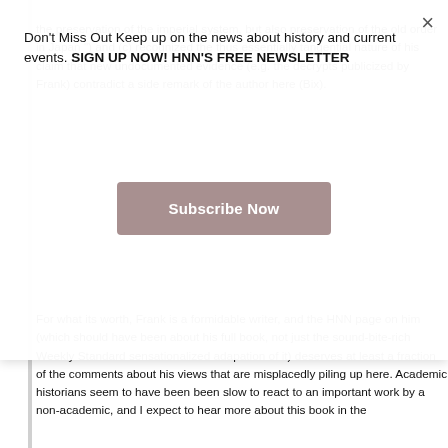the preservation of the imperial system, but also preservation of the old order in Japan ") and (c) recognized the thus essentially tangential nature of his claim that new undocumented evidence (e.g. the decrypts publicized by Frank) contradict a side remark of the author here (Bix).
[Figure (other): Modal popup overlay with newsletter signup text and Subscribe Now button]
Don't Miss Out Keep up on the news about history and current events. SIGN UP NOW! HNN'S FREE NEWSLETTER
For what its worth, Frank is a formidable writer, and the HNN page on him (which should have been about his full book, not just the sound-bite-rich Weekly Standard sensationalized adapation of it) deserves at least a fraction of the comments about his views that are misplacedly piling up here. Academic historians seem to have been been slow to react to an important work by a non-academic, and I expect to hear more about this book in the